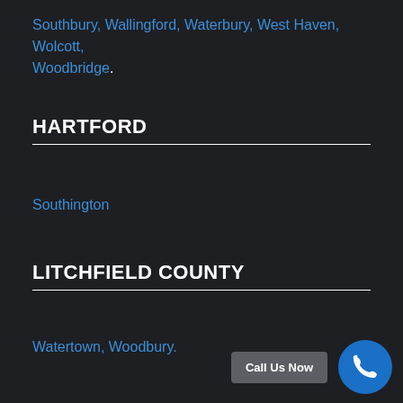Southbury, Wallingford, Waterbury, West Haven, Wolcott, Woodbridge.
HARTFORD
Southington
LITCHFIELD COUNTY
Watertown, Woodbury.